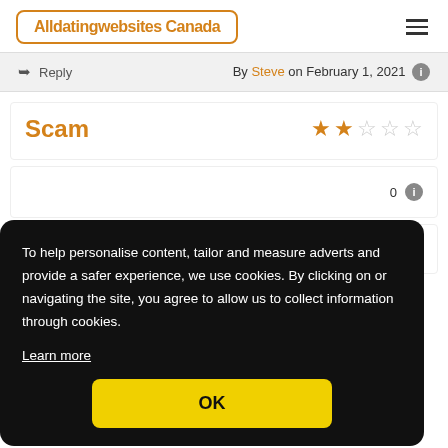Alldatingwebsites Canada
Reply  By Steve on February 1, 2021
Scam  ★★☆☆☆ (2/5 stars)
To help personalise content, tailor and measure adverts and provide a safer experience, we use cookies. By clicking on or navigating the site, you agree to allow us to collect information through cookies.
Learn more
OK